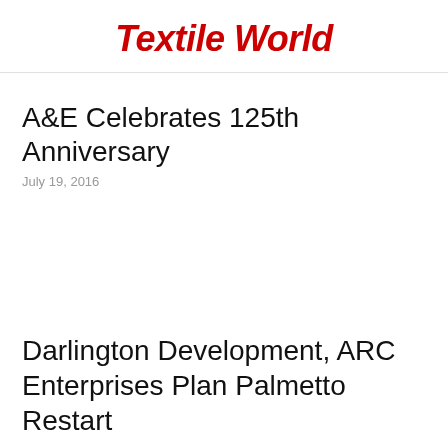Textile World
A&E Celebrates 125th Anniversary
July 19, 2016
Darlington Development, ARC Enterprises Plan Palmetto Restart